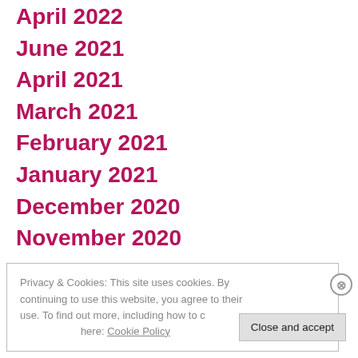April 2022
June 2021
April 2021
March 2021
February 2021
January 2021
December 2020
November 2020
Privacy & Cookies: This site uses cookies. By continuing to use this website, you agree to their use. To find out more, including how to control cookies, see here: Cookie Policy